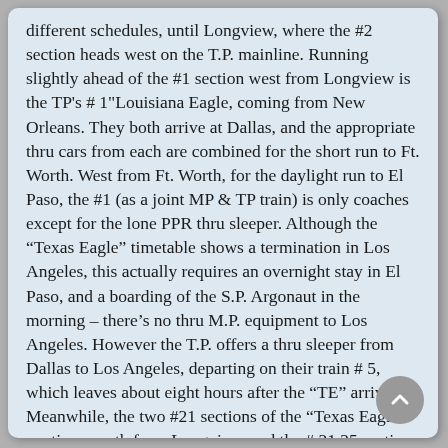different schedules, until Longview, where the #2 section heads west on the T.P. mainline. Running slightly ahead of the #1 section west from Longview is the TP's # 1 "Louisiana Eagle, coming from New Orleans. They both arrive at Dallas, and the appropriate thru cars from each are combined for the short run to Ft. Worth. West from Ft. Worth, for the daylight run to El Paso, the #1 (as a joint MP & TP train) is only coaches except for the lone PPR thru sleeper. Although the “Texas Eagle” timetable shows a termination in Los Angeles, this actually requires an overnight stay in El Paso, and a boarding of the S.P. Argonaut in the morning – there's no thru M.P. equipment to Los Angeles. However the T.P. offers a thru sleeper from Dallas to Los Angeles, departing on their train # 5, which leaves about eight hours after the “TE” arrives. Meanwhile, the two #21 sections of the “Texas Eagle” continue south from Longview, and the # 21 25 section headed for Houston-Galveston, splits off at Palestine. The last section, the #21...